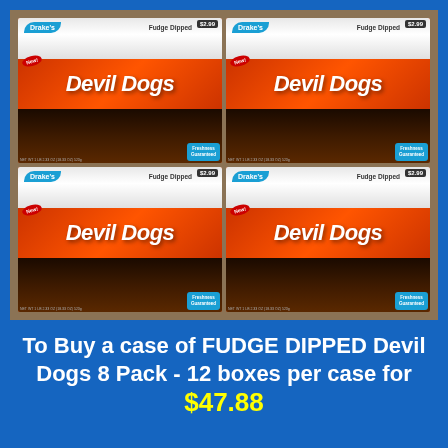[Figure (photo): A cardboard case box containing four packages of Drake's Fudge Dipped Devil Dogs, arranged in a 2x2 grid. Each box shows the Drake's logo, 'Fudge Dipped' text, 'Devil Dogs' in large orange lettering, '$2.99' price tag, 'New!' badge, '8 Cream Filled Devil Food Cakes', 'Freshness Guaranteed' badge, and net weight 1 LB 2.33 OZ (18.33 OZ) 520g.]
To Buy a case of FUDGE DIPPED Devil Dogs 8 Pack - 12 boxes per case for $47.88